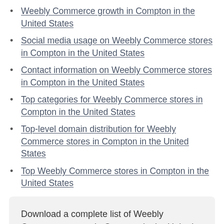Weebly Commerce growth in Compton in the United States
Social media usage on Weebly Commerce stores in Compton in the United States
Contact information on Weebly Commerce stores in Compton in the United States
Top categories for Weebly Commerce stores in Compton in the United States
Top-level domain distribution for Weebly Commerce stores in Compton in the United States
Top Weebly Commerce stores in Compton in the United States
Download a complete list of Weebly Commerce stores in Compton in the United States with a paid account.